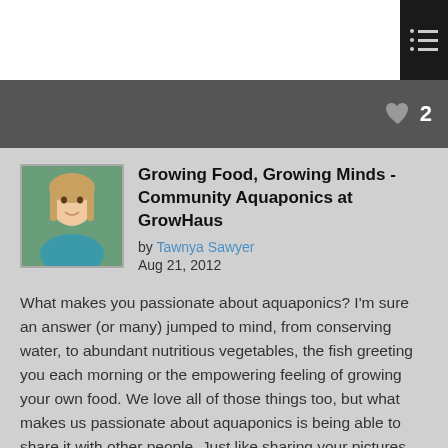≡ (menu icon)
♥ 2
Growing Food, Growing Minds - Community Aquaponics at GrowHaus
by Tawnya Sawyer
Aug 21, 2012
What makes you passionate about aquaponics? I'm sure an answer (or many) jumped to mind, from conserving water, to abundant nutritious vegetables, the fish greeting you each morning or the empowering feeling of growing your own food. We love all of those things too, but what makes us passionate about aquaponics is being able to share it with other people. Just like sharing your pictures, stories and dialog through the aquaponics community, sharing aquaponics with a group of people in person is engaging and energizing. Beyond sharing the concept of aquaponics, it is sharing the food and the opportunity to